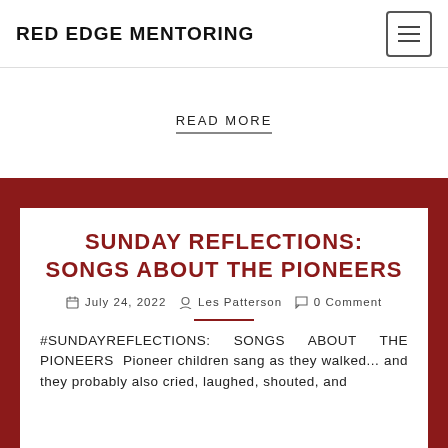RED EDGE MENTORING
READ MORE
SUNDAY REFLECTIONS: SONGS ABOUT THE PIONEERS
July 24, 2022  Les Patterson  0 Comment
#SUNDAYREFLECTIONS: SONGS ABOUT THE PIONEERS Pioneer children sang as they walked... and they probably also cried, laughed, shouted, and